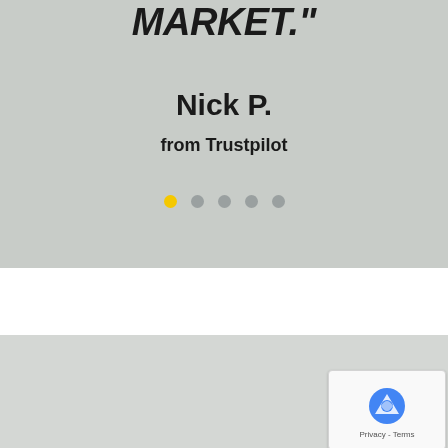MARKET."
Nick P.
from Trustpilot
[Figure (other): Carousel pagination dots: 5 dots, first one yellow/active, rest grey]
DISCOVER THE SCIENCE: POWERSHORTS
[Figure (other): reCAPTCHA widget overlay with Google logo and Privacy - Terms text]